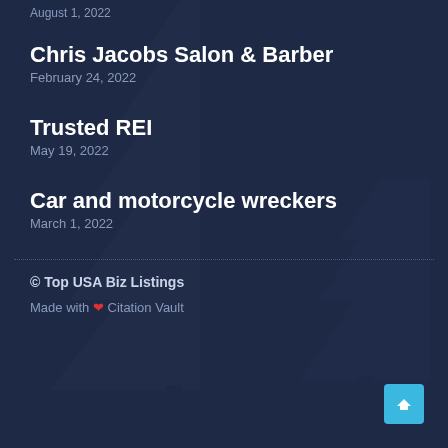August 1, 2022
Chris Jacobs Salon & Barber
February 24, 2022
Trusted REI
May 19, 2022
Car and motorcycle wreckers
March 1, 2022
© Top USA Biz Listings
Made with ❤ Citation Vault